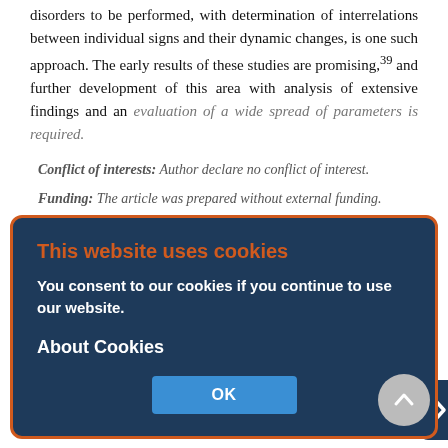disorders to be performed, with determination of interrelations between individual signs and their dynamic changes, is one such approach. The early results of these studies are promising,39 and further development of this area with analysis of extensive findings and an evaluation of a wide spread of parameters is required.
Conflict of interests: Author declare no conflict of interest.
Funding: The article was prepared without external funding.
About the authors
[Figure (screenshot): Cookie consent overlay with dark navy background and orange border. Title: 'This website uses cookies'. Body: 'You consent to our cookies if you continue to use our website.' Link: 'About Cookies'. OK button in blue.]
Alexander B. Shmukler
Moscow Research Institute of Psychiatry – a branch of the V. Serbsky National Medical